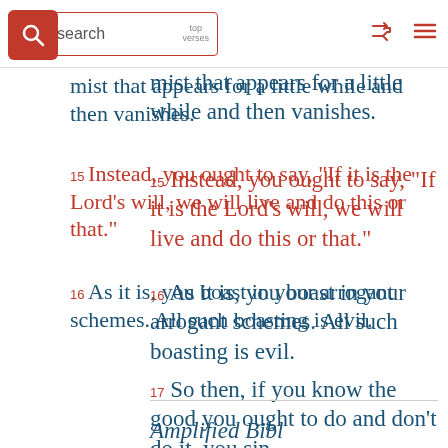Bible search | top verses
mist that appears for a little while and then vanishes.
15 Instead, you ought to say, "If it is the Lord's will, we will live and do this or that."
16 As it is, you boast in your arrogant schemes. All such boasting is evil.
17 So then, if you know the good you ought to do and don't do it, you sin.
Amplified Bibl...